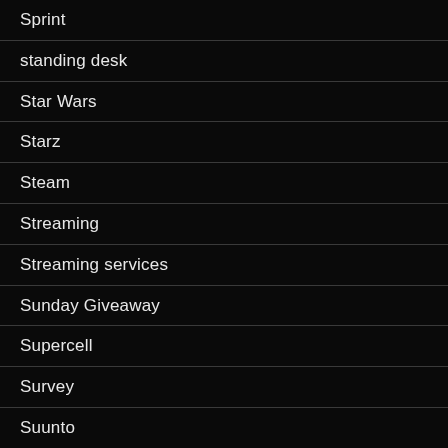Sprint
standing desk
Star Wars
Starz
Steam
Streaming
Streaming services
Sunday Giveaway
Supercell
Survey
Suunto
T-Mobile
Tablets